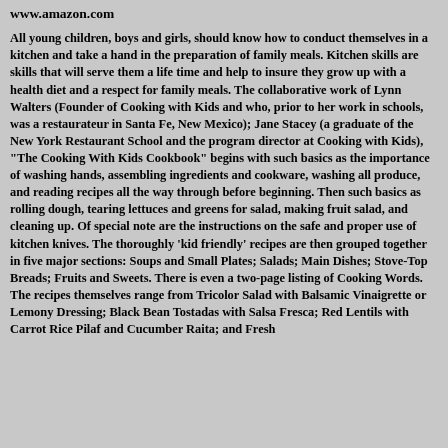www.amazon.com
All young children, boys and girls, should know how to conduct themselves in a kitchen and take a hand in the preparation of family meals. Kitchen skills are skills that will serve them a life time and help to insure they grow up with a health diet and a respect for family meals. The collaborative work of Lynn Walters (Founder of Cooking with Kids and who, prior to her work in schools, was a restaurateur in Santa Fe, New Mexico); Jane Stacey (a graduate of the New York Restaurant School and the program director at Cooking with Kids), "The Cooking With Kids Cookbook" begins with such basics as the importance of washing hands, assembling ingredients and cookware, washing all produce, and reading recipes all the way through before beginning. Then such basics as rolling dough, tearing lettuces and greens for salad, making fruit salad, and cleaning up. Of special note are the instructions on the safe and proper use of kitchen knives. The thoroughly 'kid friendly' recipes are then grouped together in five major sections: Soups and Small Plates; Salads; Main Dishes; Stove-Top Breads; Fruits and Sweets. There is even a two-page listing of Cooking Words. The recipes themselves range from Tricolor Salad with Balsamic Vinaigrette or Lemony Dressing; Black Bean Tostadas with Salsa Fresca; Red Lentils with Carrot Rice Pilaf and Cucumber Raita; and Fresh